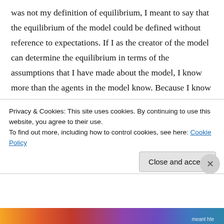was not my definition of equilibrium, I meant to say that the equilibrium of the model could be defined without reference to expectations. If I as the creator of the model can determine the equilibrium in terms of the assumptions that I have made about the model, I know more than the agents in the model know. Because I know more than the agents, I know what the agents can only guess at. And I know that the equilibrium which I can determine with certainty will not be arrived at by the agents unless they
Privacy & Cookies: This site uses cookies. By continuing to use this website, you agree to their use.
To find out more, including how to control cookies, see here: Cookie Policy